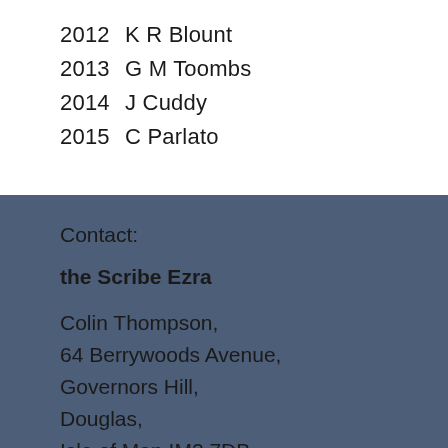2012  K R Blount
2013  G M Toombs
2014  J Cuddy
2015  C Parlato
Contact:
the Scribe Ezra
Colin Thompson,
64 Berrywoods Avenue,
Governors Hill,
Douglas,
Isle of Man IM2 7DB